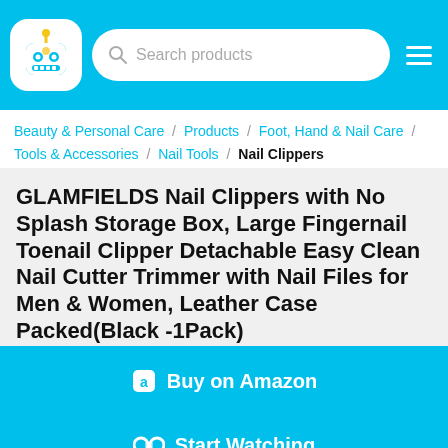Search products
Beauty & Personal Care / Products / Foot, Hand & Nail Care / Tools & Accessories / Nail Tools / Nail Clippers
GLAMFIELDS Nail Clippers with No Splash Storage Box, Large Fingernail Toenail Clipper Detachable Easy Clean Nail Cutter Trimmer with Nail Files for Men & Women, Leather Case Packed(Black -1Pack)
Buy on Amazon
Start Watching